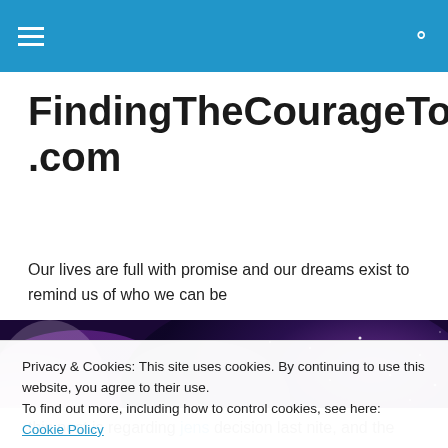FindingTheCourageToDream.com
FindingTheCourageToDream.com
Our lives are full with promise and our dreams exist to remind us of who we can be
[Figure (photo): A purple and dark galaxy/nebula sky photograph used as a hero image]
Privacy & Cookies: This site uses cookies. By continuing to use this website, you agree to their use.
To find out more, including how to control cookies, see here: Cookie Policy
this post is regarding jens decision last nite, and the